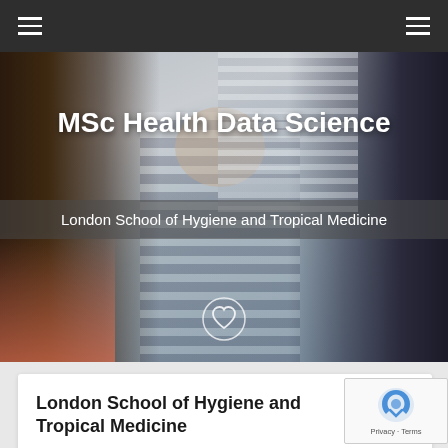MSc Health Data Science — London School of Hygiene and Tropical Medicine
[Figure (photo): Three students sitting together at a desk in an office or computer lab setting. A Black woman with glasses and salmon/pink top on the left, a white woman with brown hair in a black-and-white striped top in the center smiling, and a South Asian man in a dark navy sweater on the right. There is a heart icon circle overlaid at the bottom center of the image.]
MSc Health Data Science
London School of Hygiene and Tropical Medicine
London School of Hygiene and Tropical Medicine
This programme in Health Data...